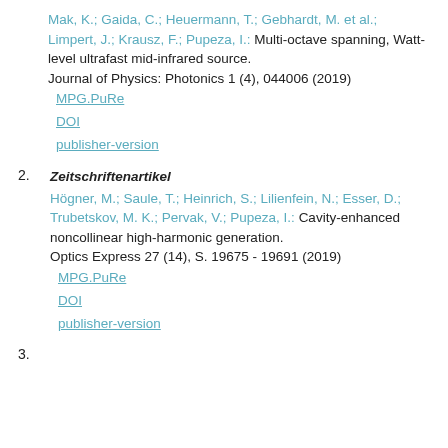Mak, K.; Gaida, C.; Heuermann, T.; Gebhardt, M. et al.; Limpert, J.; Krausz, F.; Pupeza, I.: Multi-octave spanning, Watt-level ultrafast mid-infrared source. Journal of Physics: Photonics 1 (4), 044006 (2019) MPG.PuRe DOI publisher-version
Zeitschriftenartikel Högner, M.; Saule, T.; Heinrich, S.; Lilienfein, N.; Esser, D.; Trubetskov, M. K.; Pervak, V.; Pupeza, I.: Cavity-enhanced noncollinear high-harmonic generation. Optics Express 27 (14), S. 19675 - 19691 (2019) MPG.PuRe DOI publisher-version
3.